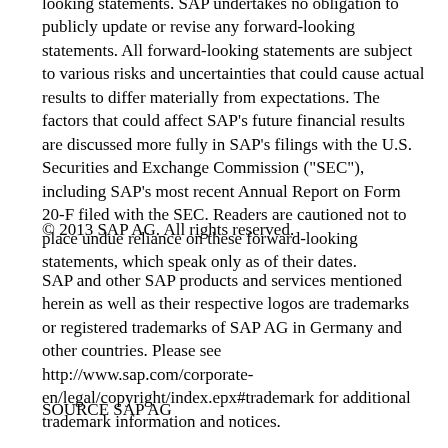looking statements. SAP undertakes no obligation to publicly update or revise any forward-looking statements. All forward-looking statements are subject to various risks and uncertainties that could cause actual results to differ materially from expectations. The factors that could affect SAP's future financial results are discussed more fully in SAP's filings with the U.S. Securities and Exchange Commission ("SEC"), including SAP's most recent Annual Report on Form 20-F filed with the SEC. Readers are cautioned not to place undue reliance on these forward-looking statements, which speak only as of their dates.
© 2013 SAP AG. All rights reserved.
SAP and other SAP products and services mentioned herein as well as their respective logos are trademarks or registered trademarks of SAP AG in Germany and other countries. Please see http://www.sap.com/corporate-en/legal/copyright/index.epx#trademark for additional trademark information and notices.
SOURCE SAP AG